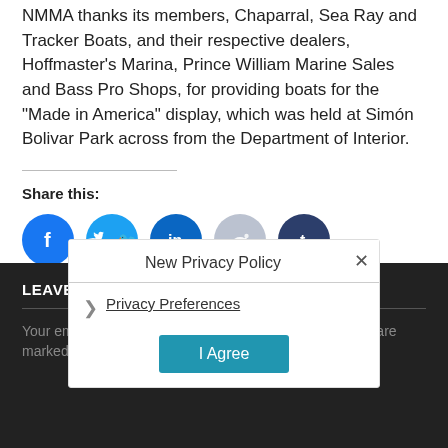NMMA thanks its members, Chaparral, Sea Ray and Tracker Boats, and their respective dealers, Hoffmaster’s Marina, Prince William Marine Sales and Bass Pro Shops, for providing boats for the “Made in America” display, which was held at Simón Bolivar Park across from the Department of Interior.
Share this:
[Figure (infographic): Five social share icon buttons: Facebook (blue), Twitter (light blue), LinkedIn (dark blue), Reddit (gray), Tumblr (dark navy)]
LEAVE A REPLY
Your email address will not be published. Required fields are marked
New Privacy Policy
Privacy Preferences
I Agree